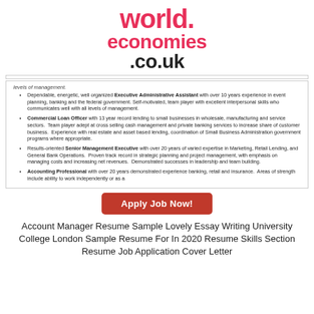[Figure (logo): worldeconomies.co.uk logo in pink/red and black text]
Dependable, energetic, well organized Executive Administrative Assistant with over 10 years experience in event planning, banking and the federal government. Self-motivated, team player with excellent interpersonal skills who communicates well with all levels of management.
Commercial Loan Officer with 13 year record lending to small businesses in wholesale, manufacturing and service sectors.  Team player adept at cross selling cash management and private banking services to increase share of customer business.  Experience with real estate and asset based lending, coordination of Small Business Administration government programs where appropriate.
Results-oriented Senior Management Executive with over 20 years of varied expertise in Marketing, Retail Lending, and General Bank Operations.  Proven track record in strategic planning and project management, with emphasis on managing costs and increasing net revenues.  Demonstrated successes in leadership and team building.
Accounting Professional with over 20 years demonstrated experience banking, retail and insurance.  Areas of strength include ability to work independently or as a
[Figure (other): Apply Job Now! red button]
Account Manager Resume Sample Lovely Essay Writing University College London Sample Resume For In 2020 Resume Skills Section Resume Job Application Cover Letter